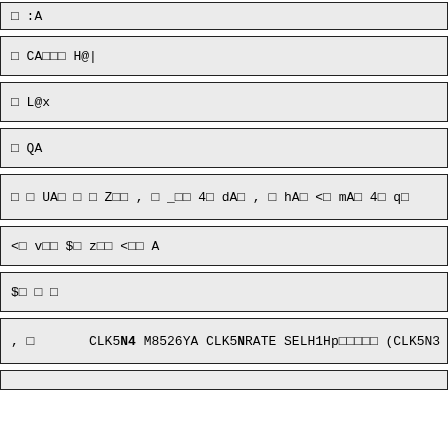□ :A
□ CA□□□ H@|
□ L@x
□ QA
□ □ UA□ □ □ Z□□ , □ _□□ 4□ dA□ , □ hA□ <□ mA□ 4□ q□
<□ v□□ $□ z□□ <□□ A
$□ □ □
, □      CLK5N4 M8526YA CLK5NRATE SELH1Hp□□□□□ (CLK5N3 M8